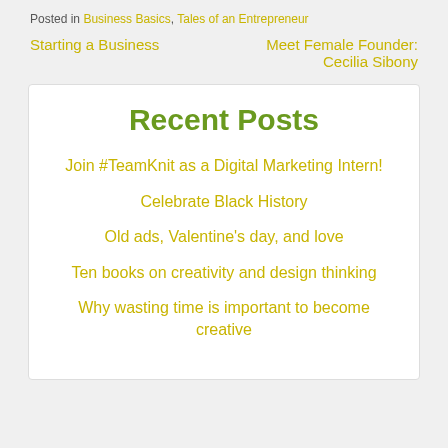Posted in Business Basics, Tales of an Entrepreneur
Starting a Business
Meet Female Founder: Cecilia Sibony
Recent Posts
Join #TeamKnit as a Digital Marketing Intern!
Celebrate Black History
Old ads, Valentine's day, and love
Ten books on creativity and design thinking
Why wasting time is important to become creative